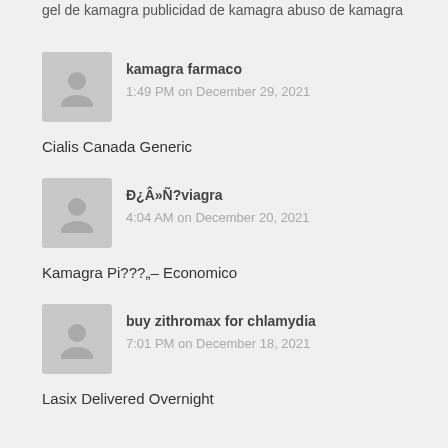gel de kamagra publicidad de kamagra abuso de kamagra
kamagra farmaco
1:49 PM on December 29, 2021
Cialis Canada Generic
Ð¿Â»Ñ?viagra
4:04 AM on December 20, 2021
Kamagra Pi???„– Economico
buy zithromax for chlamydia
7:01 PM on December 18, 2021
Lasix Delivered Overnight
Vievomi
7:59 AM on December 18, 2021
viagra results